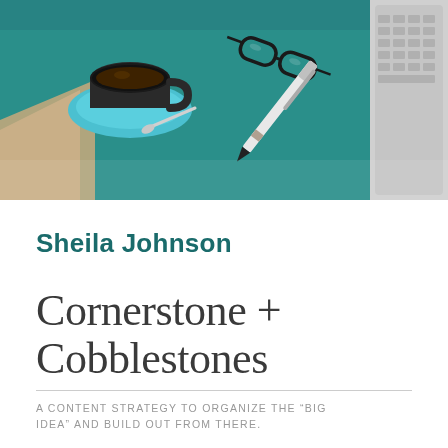[Figure (illustration): Top-down view of a teal/dark green desk with a coffee cup on a blue saucer, a pen, eyeglasses, and a laptop keyboard partially visible at the right edge. Flat design illustration style.]
Sheila Johnson
Cornerstone + Cobblestones
A CONTENT STRATEGY TO ORGANIZE THE “BIG IDEA” AND BUILD OUT FROM THERE.